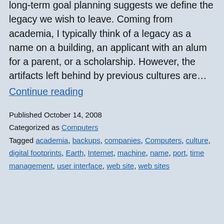A book on time management in talking about long-term goal planning suggests we define the legacy we wish to leave. Coming from academia, I typically think of a legacy as a name on a building, an applicant with an alum for a parent, or a scholarship. However, the artifacts left behind by previous cultures are…
Continue reading
Published October 14, 2008
Categorized as Computers
Tagged academia, backups, companies, Computers, culture, digital footprints, Earth, Internet, machine, name, port, time management, user interface, web site, web sites